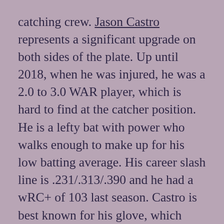catching crew. Jason Castro represents a significant upgrade on both sides of the plate. Up until 2018, when he was injured, he was a 2.0 to 3.0 WAR player, which is hard to find at the catcher position. He is a lefty bat with power who walks enough to make up for his low batting average. His career slash line is .231/.313/.390 and he had a wRC+ of 103 last season. Castro is best known for his glove, which carries most of his value – in particular his pitch framing skills. Castro was a 1st round pick in 2008 and is 32, so while he is talented, decline is inevitable, but if he can stay healthy in 2020 then he is a nice pick up who will improve the pitching staff and hit some bombs.
The other catcher, because few catchers can